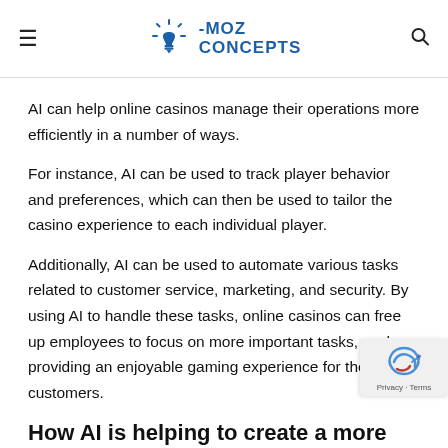MOZ CONCEPTS
AI can help online casinos manage their operations more efficiently in a number of ways.
For instance, AI can be used to track player behavior and preferences, which can then be used to tailor the casino experience to each individual player.
Additionally, AI can be used to automate various tasks related to customer service, marketing, and security. By using AI to handle these tasks, online casinos can free up employees to focus on more important tasks, such as providing an enjoyable gaming experience for their customers.
How AI is helping to create a more